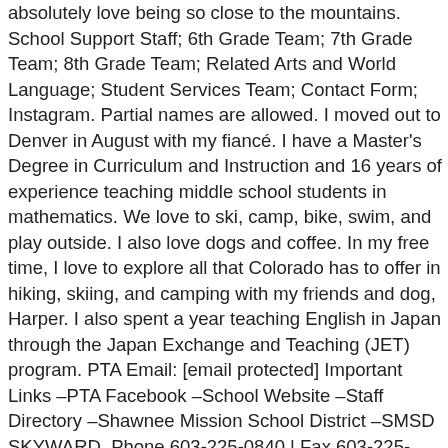absolutely love being so close to the mountains. School Support Staff; 6th Grade Team; 7th Grade Team; 8th Grade Team; Related Arts and World Language; Student Services Team; Contact Form; Instagram. Partial names are allowed. I moved out to Denver in August with my fiancé. I have a Master's Degree in Curriculum and Instruction and 16 years of experience teaching middle school students in mathematics. We love to ski, camp, bike, swim, and play outside. I also love dogs and coffee. In my free time, I love to explore all that Colorado has to offer in hiking, skiing, and camping with my friends and dog, Harper. I also spent a year teaching English in Japan through the Japan Exchange and Teaching (JET) program. PTA Email: [email protected] Important Links –PTA Facebook –School Website –Staff Directory –Shawnee Mission School District –SMSD SKYWARD. Phone 603-225-0840 | Fax 603-225-0839. After graduating high school, I decided to attend Colorado College, where I earned my BA in English and Education, and my MAT in Secondary English Education. Our School. Kindergarten . While I create my own art outside of class, I also love exploring the music/art scene of Denver, reading/sketching in local coffee shops, playing in parks, rock climbing, and adventuring into the great outdoors! Even in high school I knew that I wanted to teach, so I pursued both a Bachelor's and Master's Degree in English Education at SUNY Oneonta. I can't wait to get know my new students and navigate the wonders of history with them. January 16, 2021 January 16, 2021. Mcauliffe Elementary School - find test scores, ratings, reviews, and 2 nearby